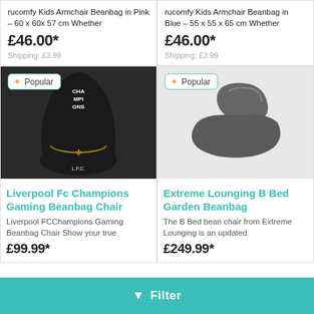rucomfy Kids Armchair Beanbag in Pink – 60 x 60x 57 cm Whether
£46.00*
Shipping: £3.99
rucomfy Kids Armchair Beanbag in Blue – 55 x 55 x 65 cm Whether
£46.00*
Shipping: £3.99
[Figure (photo): Liverpool FC Champions Gaming Beanbag Chair – black beanbag chair with Champions text and LFC Liver Bird logo, Popular badge]
Liverpool Fc Champions Gaming Beanbag Chair
Liverpool FCChampions Gaming Beanbag Chair Show your true
£99.99*
[Figure (photo): Extreme Lounging B Bed Garden Beanbag – dark grey outdoor lounger beanbag, Popular badge]
Extreme Lounging B Bed Garden Beanbag
The B Bed bean chair from Extreme Lounging is an updated
£249.99*
▼ Filter